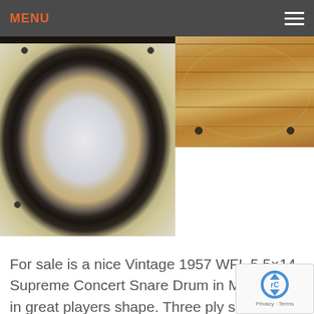MENU
[Figure (photo): Left: Close-up photo of the inside of a wooden snare drum shell showing the bearing edge, interior, and some hardware screws. The interior appears light/white with a wooden rim. Right: Photo of a wooden drum shell exterior showing woodgrain, some light damage or marks, and hardware.]
For sale is a nice Vintage 1957 WFL 5.5×14 Supreme Concert Snare Drum in Mahogany in great players shape. Three ply shell is in-round with original factory edges. No mods, issues or extra holes. Scuffs in the finish as shown. Nickel hardware is in good shape. Nickel over brass hoops. Red date stamp of